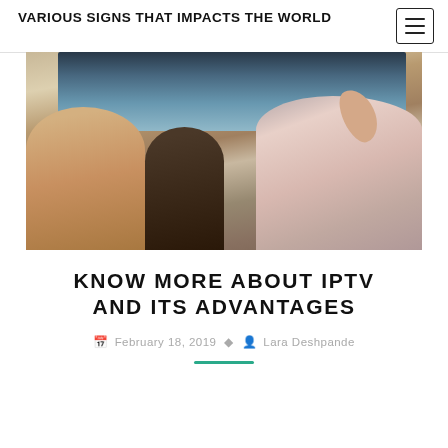VARIOUS SIGNS THAT IMPACTS THE WORLD
[Figure (photo): Family viewed from behind lying on a couch watching TV, with a person holding a remote control pointed at the TV screen.]
KNOW MORE ABOUT IPTV AND ITS ADVANTAGES
February 18, 2019  Lara Deshpande